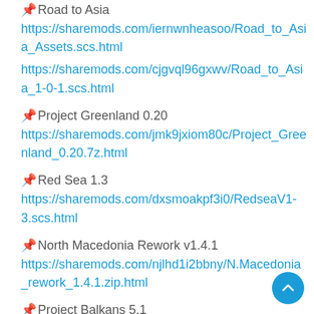📌 Road to Asia https://sharemods.com/iernwnheasoo/Road_to_Asia_Assets.scs.html
https://sharemods.com/cjgvql96gxwv/Road_to_Asia_1-0-1.scs.html
📌 Project Greenland 0.20 https://sharemods.com/jmk9jxiom80c/Project_Greenland_0.20.7z.html
📌 Red Sea 1.3 https://sharemods.com/dxsmoakpf3i0/RedseaV1-3.scs.html
📌 North Macedonia Rework v1.4.1 https://sharemods.com/njlhd1i2bbny/N.Macedonia_rework_1.4.1.zip.html
📌 Project Balkans 5.1 https://sharemods.com/pu4jppefonhz/Project_Bal...